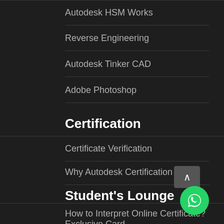Autodesk HSM Works
Reverse Engineering
Autodesk Tinker CAD
Adobe Photoshop
Certification
Certificate Verification
Why Autodesk Certification
Student's Lounge
How to Interpret Online Certificate?
Exclusive Card